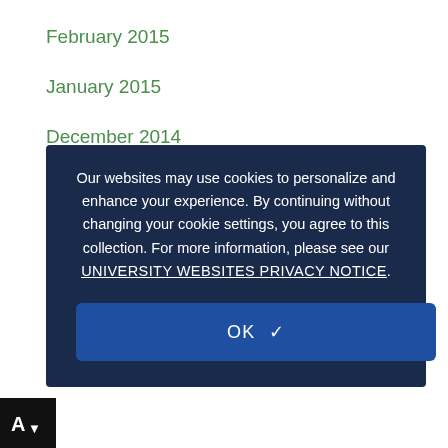February 2015
January 2015
December 2014
November 2014
September 2014
August 2014
July 2014
May 2014
April 2014
Our websites may use cookies to personalize and enhance your experience. By continuing without changing your cookie settings, you agree to this collection. For more information, please see our UNIVERSITY WEBSITES PRIVACY NOTICE.